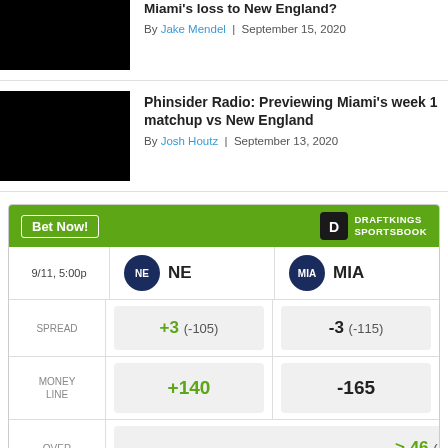Miami's loss to New England?
By Jake Mendel | September 15, 2020
Phinsider Radio: Previewing Miami's week 1 matchup vs New England
By Josh Houtz | September 13, 2020
|  | NE | MIA |
| --- | --- | --- |
| 9/11, 5:00p | NE | MIA |
| SPREAD | +3 (-105) | -3 (-115) |
| MONEY LINE | +140 | -165 |
| OVER | > 46 (-110) |  |